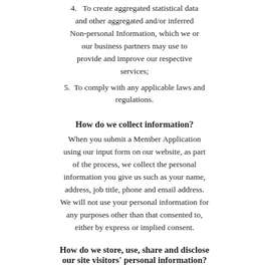4.  To create aggregated statistical data and other aggregated and/or inferred Non-personal Information, which we or our business partners may use to provide and improve our respective services;
5.  To comply with any applicable laws and regulations.
How do we collect information?
When you submit a Member Application using our input form on our website, as part of the process, we collect the personal information you give us such as your name, address, job title, phone and email address. We will not use your personal information for any purposes other than that consented to, either by express or implied consent.
How do we store, use, share and disclose our site visitors' personal information?
To prevent unauthorized access, maintain